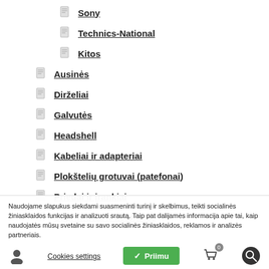Sony
Technics-National
Kitos
Ausinės
Dirželiai
Galvutės
Headshell
Kabeliai ir adapteriai
Plokštelių grotuvai (patefonai)
Priedai ir įrankiai
Stiprintuvai ir kolonėlės
Naudojame slapukus siekdami suasmeninti turinį ir skelbimus, teikti socialinės žiniasklaidos funkcijas ir analizuoti srautą. Taip pat dalijamės informacija apie tai, kaip naudojatės mūsų svetaine su savo socialinės žiniasklaidos, reklamos ir analizės partneriais.
Cookies settings | Priimu